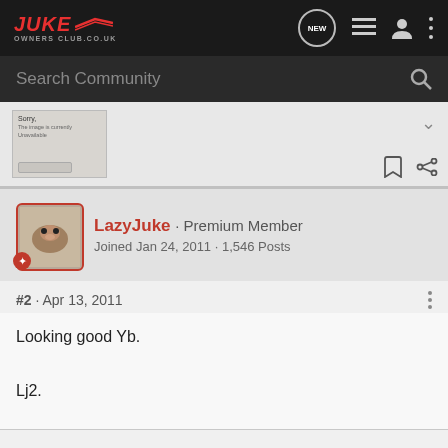JUKE Owners Club.co.uk
Search Community
[Figure (screenshot): Thumbnail preview of a page showing a small image and text, partially visible]
LazyJuke · Premium Member
Joined Jan 24, 2011 · 1,546 Posts
#2 · Apr 13, 2011
Looking good Yb.

Lj2.